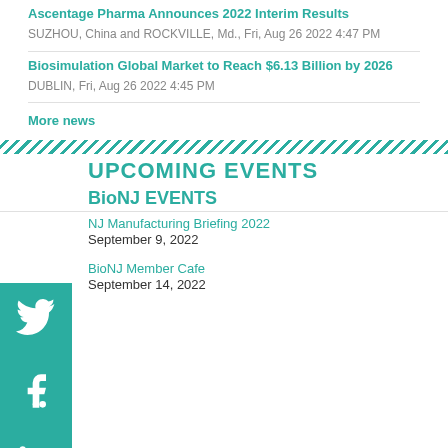Ascentage Pharma Announces 2022 Interim Results
SUZHOU, China and ROCKVILLE, Md., Fri, Aug 26 2022 4:47 PM
Biosimulation Global Market to Reach $6.13 Billion by 2026
DUBLIN, Fri, Aug 26 2022 4:45 PM
More news
UPCOMING EVENTS
BioNJ EVENTS
NJ Manufacturing Briefing 2022
September 9, 2022
BioNJ Member Cafe
September 14, 2022